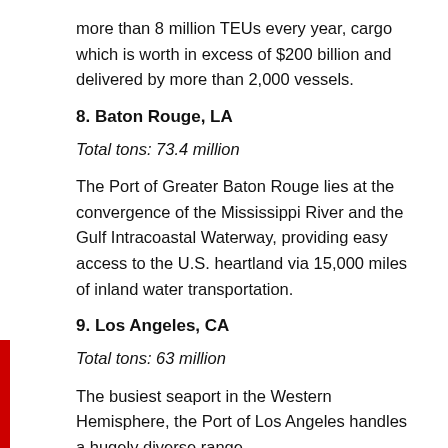more than 8 million TEUs every year, cargo which is worth in excess of $200 billion and delivered by more than 2,000 vessels.
8. Baton Rouge, LA
Total tons: 73.4 million
The Port of Greater Baton Rouge lies at the convergence of the Mississippi River and the Gulf Intracoastal Waterway, providing easy access to the U.S. heartland via 15,000 miles of inland water transportation.
9. Los Angeles, CA
Total tons: 63 million
The busiest seaport in the Western Hemisphere, the Port of Los Angeles handles a hugely diverse range